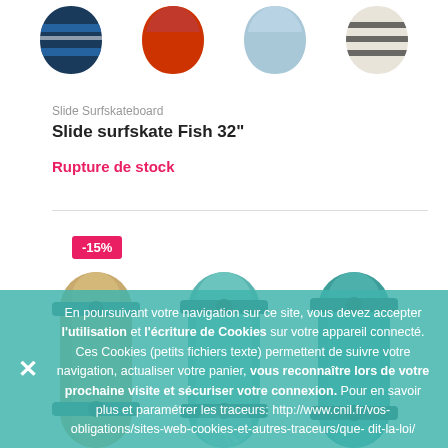[Figure (illustration): Four skateboard/surfskate deck top views in different colors: dark blue with stripes, orange/red, light blue, and white/cream with stripes]
Slide Surfskateboard
Slide surfskate Fish 32"
Rupture de stock
-15%
[Figure (photo): Three longboards/surfskate complete boards shown from above, teal/mint color themes with trucks visible]
En poursuivant votre navigation sur ce site, vous devez accepter l'utilisation et l'écriture de Cookies sur votre appareil connecté. Ces Cookies (petits fichiers texte) permettent de suivre votre navigation, actualiser votre panier, vous reconnaître lors de votre prochaine visite et sécuriser votre connexion. Pour en savoir plus et paramétrer les traceurs: http://www.cnil.fr/vos-obligations/sites-web-cookies-et-autres-traceurs/que-dit-la-loi/